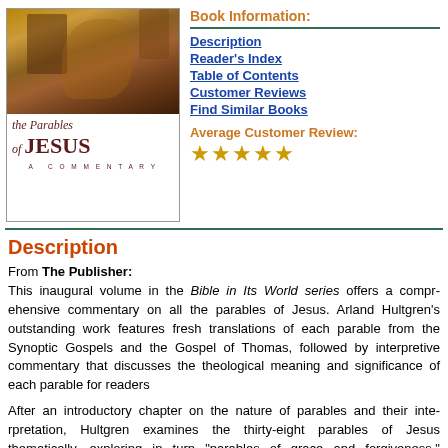[Figure (photo): Book cover of 'The Parables of Jesus: A Commentary' showing a painted figure and the title text]
Book Information:
Description
Reader's Index
Table of Contents
Customer Reviews
Find Similar Books
Average Customer Review: ★★★★★
Description
From The Publisher:
This inaugural volume in the Bible in Its World series offers a comprehensive commentary on all the parables of Jesus. Arland Hultgren's outstanding work features fresh translations of each parable from the Synoptic Gospels and the Gospel of Thomas, followed by interpretive commentary that discusses the theological meaning and significance of each parable for readers today.
After an introductory chapter on the nature of parables and their interpretation, Hultgren examines the thirty-eight parables of Jesus thematically, exploring in turn "parables of grace and forgiveness," "parables of exemplary behavior," "parables of wisdom," "parables of life before God," "parables of the final judgment," "allegorical parables," and "parables of the kingdom." He also analyzes how each of the three evangelists used the parables within the literary framework and theological outlook of their respective Gospels. The book ends with a close look at the parables of Jesus in